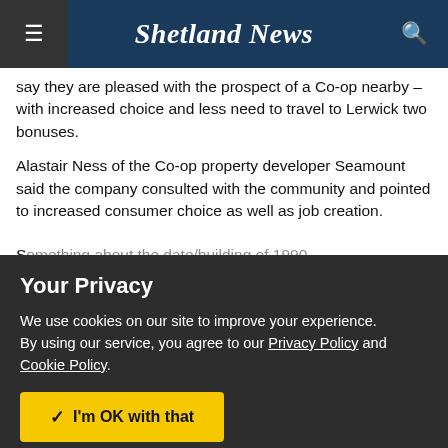Shetland News
say they are pleased with the prospect of a Co-op nearby – with increased choice and less need to travel to Lerwick two bonuses.
Alastair Ness of the Co-op property developer Seamount said the company consulted with the community and pointed to increased consumer choice as well as job creation.
Your Privacy
We use cookies on our site to improve your experience.
By using our service, you agree to our Privacy Policy and Cookie Policy.
✓  I'm OK with that